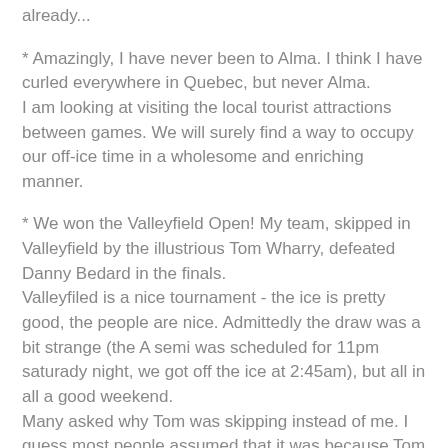already...
* Amazingly, I have never been to Alma. I think I have curled everywhere in Quebec, but never Alma.
I am looking at visiting the local tourist attractions between games. We will surely find a way to occupy our off-ice time in a wholesome and enriching manner.
* We won the Valleyfield Open! My team, skipped in Valleyfield by the illustrious Tom Wharry, defeated Danny Bedard in the finals.
Valleyfiled is a nice tournament - the ice is pretty good, the people are nice. Admittedly the draw was a bit strange (the A semi was scheduled for 11pm saturady night, we got off the ice at 2:45am), but all in all a good weekend.
Many asked why Tom was skipping instead of me. I guess most people assumed that it was because Tom is old and needed a week off of sweeping. Partially correct - the other reason is that I needed a week off skipping. It felt nice for both of us - and we won - so apparently the plan worked.
Highlights and stories:
- Had an epic 8th end against Raby and Guillemette (the